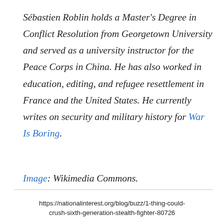Sébastien Roblin holds a Master's Degree in Conflict Resolution from Georgetown University and served as a university instructor for the Peace Corps in China. He has also worked in education, editing, and refugee resettlement in France and the United States. He currently writes on security and military history for War Is Boring.
Image: Wikimedia Commons.
https://nationalinterest.org/blog/buzz/1-thing-could-crush-sixth-generation-stealth-fighter-80726